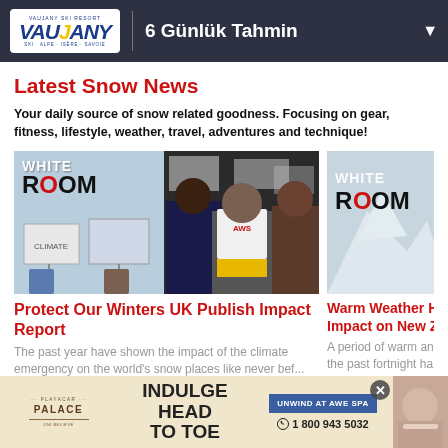6 Günlük Tahmin
Latest Snow News
Your daily source of snow related goodness. Focusing on gear, fitness, lifestyle, weather, travel, adventures and technique!
[Figure (photo): Two-panel image: left panel shows WHITE ROOM logo on light blue background with protest signs, right panel shows protest crowd with person in white AWS t-shirt]
Protect Our Winters UK Publish Impact Report
The past year have shown the impact of the climate emergency on the world's snow places like never before
[Figure (photo): WHITE ROOM logo on snowy mountain background, partially cropped]
Warm Weather H... Impact on New Z...
A period of warm an... the past fortnight ha... a significant imp...
[Figure (screenshot): Advertisement banner for Playacar Palace resort: INDULGE HEAD TO TOE, UNWIND AT AWE SPA, 1 800 943 5032]